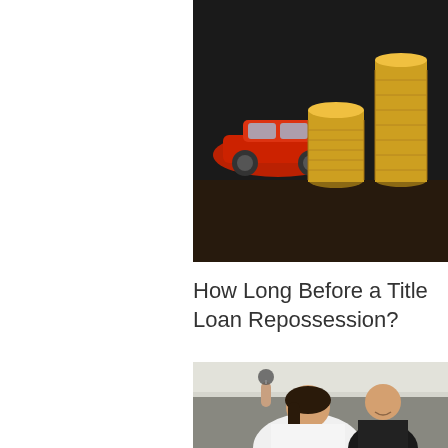[Figure (photo): Photo of stacked gold coins with a red car in the background on a dark surface]
How Long Before a Title Loan Repossession?
[Figure (photo): Photo of a smiling woman in a white shirt holding up car keys sitting in a car, with a man in a suit visible in the background]